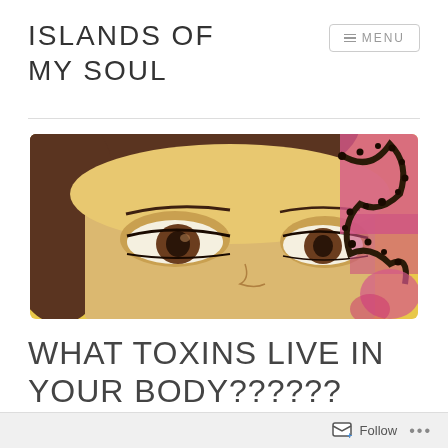ISLANDS OF MY SOUL
[Figure (illustration): Close-up artistic illustration of a woman's eyes in a yellow/golden hue, with dark brown hair. On the right side there is a decorative floral/beaded pattern in dark colors and pink accents.]
WHAT TOXINS LIVE IN YOUR BODY??????
Follow ...